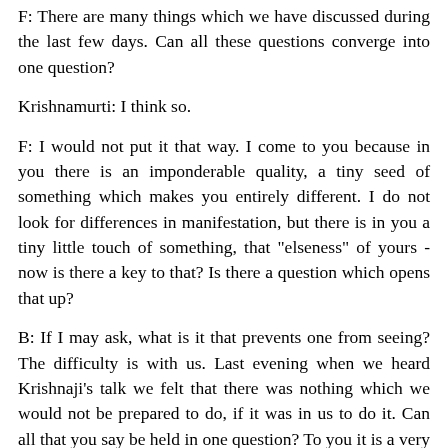F: There are many things which we have discussed during the last few days. Can all these questions converge into one question?
Krishnamurti: I think so.
F: I would not put it that way. I come to you because in you there is an imponderable quality, a tiny seed of something which makes you entirely different. I do not look for differences in manifestation, but there is in you a tiny little touch of something, that "elseness" of yours - now is there a key to that? Is there a question which opens that up?
B: If I may ask, what is it that prevents one from seeing? The difficulty is with us. Last evening when we heard Krishnaji's talk we felt that there was nothing which we would not be prepared to do, if it was in us to do it. Can all that you say be held in one question? To you it is a very simple thing. You have an amazing capacity of converting diversity into a single thing. This convergence has not taken place in us. Could there be some action